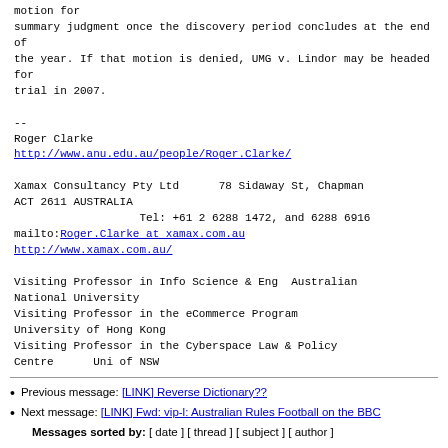motion for
summary judgment once the discovery period concludes at
the end of
the year. If that motion is denied, UMG v. Lindor may
be headed for
trial in 2007.
--
Roger Clarke
http://www.anu.edu.au/people/Roger.Clarke/
Xamax Consultancy Pty Ltd    78 Sidaway St, Chapman
ACT 2611 AUSTRALIA
                   Tel: +61 2 6288 1472, and 6288 6916
mailto:Roger.Clarke at xamax.com.au
http://www.xamax.com.au/
Visiting Professor in Info Science & Eng  Australian
National University
Visiting Professor in the eCommerce Program
University of Hong Kong
Visiting Professor in the Cyberspace Law & Policy
Centre      Uni of NSW
Previous message: [LINK] Reverse Dictionary??
Next message: [LINK] Fwd: vip-l: Australian Rules Football on the BBC
Messages sorted by: [ date ] [ thread ] [ subject ] [ author ]